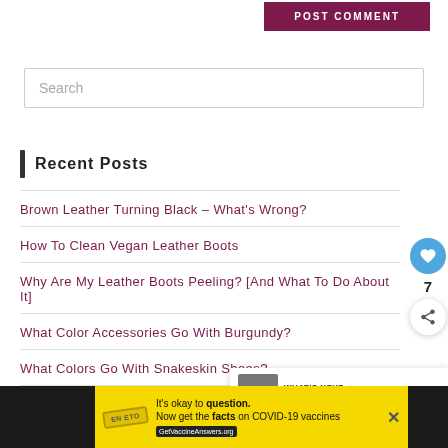[Figure (other): POST COMMENT button in dark burgundy/purple color at top right]
Search
Recent Posts
Brown Leather Turning Black – What's Wrong?
How To Clean Vegan Leather Boots
Why Are My Leather Boots Peeling? [And What To Do About It]
What Color Accessories Go With Burgundy?
What Colors Go With Snakeskin Shoes?
[Figure (other): Floating heart icon button (blue circle with heart) and share icon, with count 7]
[Figure (other): What's Next widget showing 'Should A Charcoal Ma...' with small image thumbnail]
[Figure (other): Ad banner: It's okay to question. Now get the facts on COVID-19 vaccines. GetVaccineAnswers.org — on yellow background]